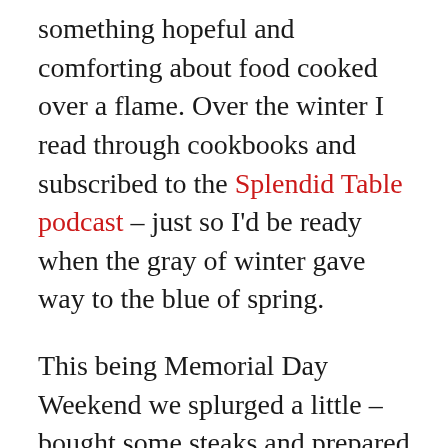something hopeful and comforting about food cooked over a flame. Over the winter I read through cookbooks and subscribed to the Splendid Table podcast – just so I'd be ready when the gray of winter gave way to the blue of spring.

This being Memorial Day Weekend we splurged a little – bought some steaks and prepared a marinade. I found the marinade recipe in a cookbook by Bobby Flay rightly titled,